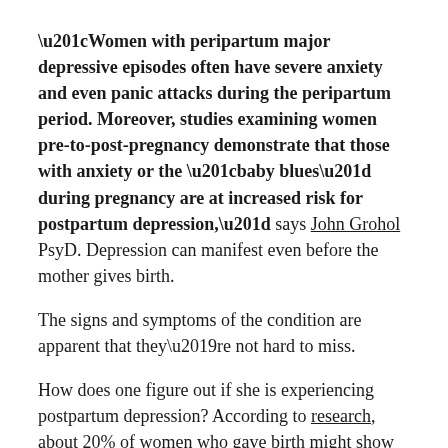“Women with peripartum major depressive episodes often have severe anxiety and even panic attacks during the peripartum period. Moreover, studies examining women pre-to-post-pregnancy demonstrate that those with anxiety or the “baby blues” during pregnancy are at increased risk for postpartum depression,” says John Grohol PsyD. Depression can manifest even before the mother gives birth.
The signs and symptoms of the condition are apparent that they’re not hard to miss.
How does one figure out if she is experiencing postpartum depression? According to research, about 20% of women who gave birth might show signs of having postpartum depression. Furthermore, PPD may not be immediately